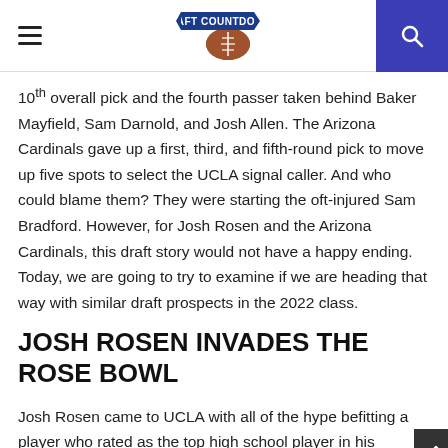Draft Countdown header with hamburger menu, logo, and search icon
10th overall pick and the fourth passer taken behind Baker Mayfield, Sam Darnold, and Josh Allen. The Arizona Cardinals gave up a first, third, and fifth-round pick to move up five spots to select the UCLA signal caller. And who could blame them? They were starting the oft-injured Sam Bradford. However, for Josh Rosen and the Arizona Cardinals, this draft story would not have a happy ending. Today, we are going to try to examine if we are heading that way with similar draft prospects in the 2022 class.
JOSH ROSEN INVADES THE ROSE BOWL
Josh Rosen came to UCLA with all of the hype befitting a player who rated as the top high school player in his